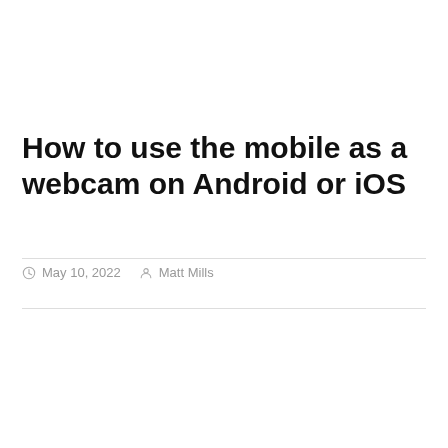How to use the mobile as a webcam on Android or iOS
May 10, 2022  Matt Mills